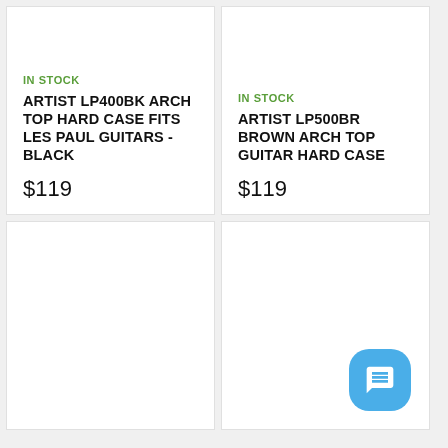IN STOCK
ARTIST LP400BK ARCH TOP HARD CASE FITS LES PAUL GUITARS - BLACK
$119
IN STOCK
ARTIST LP500BR BROWN ARCH TOP GUITAR HARD CASE
$119
[Figure (other): Empty product card (bottom left), no image visible]
[Figure (other): Empty product card (bottom right) with a blue chat button in the bottom-right corner]